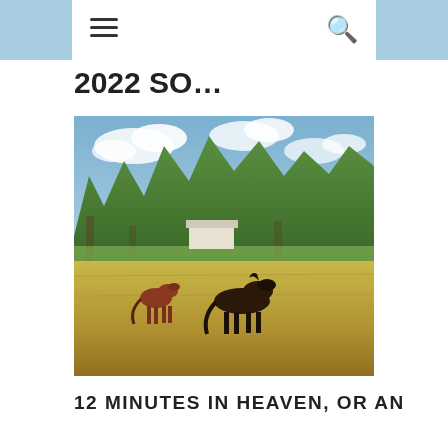navigation header with menu and search icons
2022 SO…
[Figure (photo): Two horses grazing in a sunny field with large green trees in the background and a white building visible behind the trees, under a partly cloudy blue sky.]
12 MINUTES IN HEAVEN, OR AN